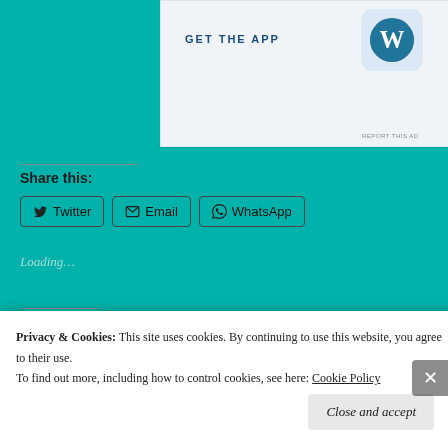[Figure (screenshot): WordPress app advertisement banner with 'GET THE APP' text and WordPress logo icon]
REPORT THIS AD
Share this:
Twitter
Email
WhatsApp
Loading...
Related
Privacy & Cookies: This site uses cookies. By continuing to use this website, you agree to their use. To find out more, including how to control cookies, see here: Cookie Policy
Close and accept